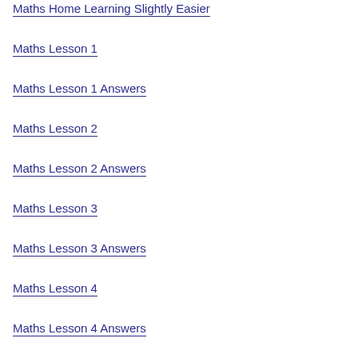Maths Home Learning Slightly Easier
Maths Lesson 1
Maths Lesson 1 Answers
Maths Lesson 2
Maths Lesson 2 Answers
Maths Lesson 3
Maths Lesson 3 Answers
Maths Lesson 4
Maths Lesson 4 Answers